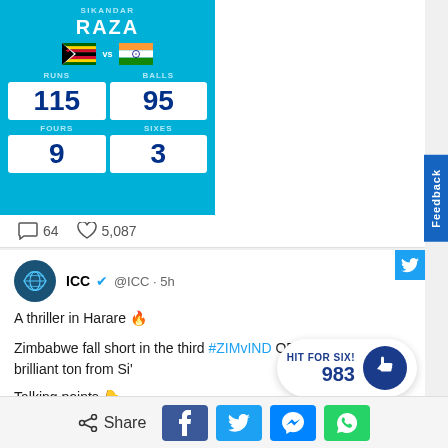[Figure (screenshot): Cricket scorecard for Sikandar Raza: Zimbabwe vs India, Runs 115, Balls 95, Fours 9, Sixes 3]
[Figure (photo): Photo of Sikandar Raza in Zimbabwe cricket kit carrying helmet]
64  5,087
[Figure (screenshot): ICC Twitter post: @ICC · 5h. A thriller in Harare 🔥. Zimbabwe fall short in the third #ZIMvIND ODI, despite a brilliant ton from Si'. Talking points 👇]
HIT FOR SIX!
983
Share